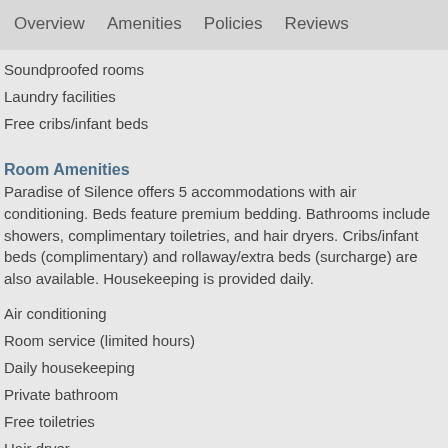Overview   Amenities   Policies   Reviews
Soundproofed rooms
Laundry facilities
Free cribs/infant beds
Room Amenities
Paradise of Silence offers 5 accommodations with air conditioning. Beds feature premium bedding. Bathrooms include showers, complimentary toiletries, and hair dryers. Cribs/infant beds (complimentary) and rollaway/extra beds (surcharge) are also available. Housekeeping is provided daily.
Air conditioning
Room service (limited hours)
Daily housekeeping
Private bathroom
Free toiletries
Hair dryer
Premium bedding